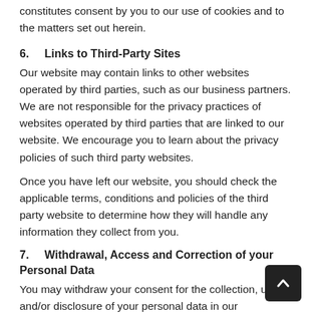constitutes consent by you to our use of cookies and to the matters set out herein.
6.    Links to Third-Party Sites
Our website may contain links to other websites operated by third parties, such as our business partners. We are not responsible for the privacy practices of websites operated by third parties that are linked to our website. We encourage you to learn about the privacy policies of such third party websites.
Once you have left our website, you should check the applicable terms, conditions and policies of the third party website to determine how they will handle any information they collect from you.
7.    Withdrawal, Access and Correction of your Personal Data
You may withdraw your consent for the collection, use and/or disclosure of your personal data in our possession or under our control by submitting your request to the